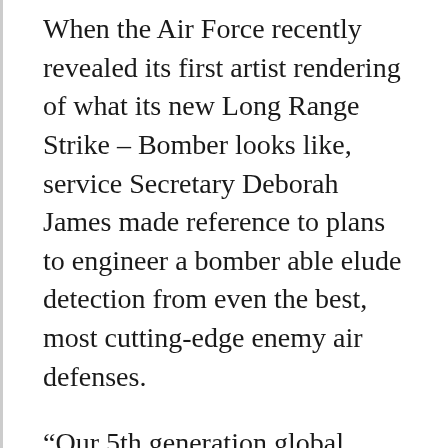When the Air Force recently revealed its first artist rendering of what its new Long Range Strike – Bomber looks like, service Secretary Deborah James made reference to plans to engineer a bomber able elude detection from even the best, most cutting-edge enemy air defenses.
“Our 5th generation global precision attack platform will give our country a networked sensor shooter capability enabling us to hold targets at risk anywhere in the world in a way that our adversaries have never seen,” James said when revealing the